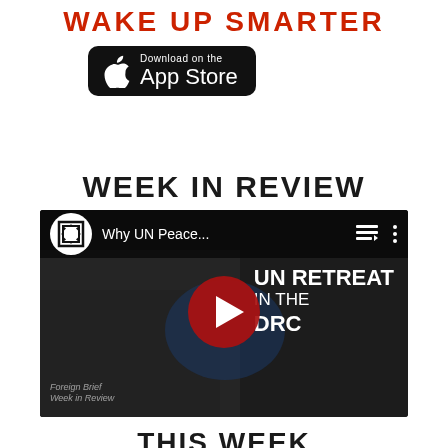WAKE UP SMARTER
[Figure (logo): Download on the App Store button with Apple logo on black rounded rectangle background]
WEEK IN REVIEW
[Figure (screenshot): YouTube video thumbnail showing 'Why UN Peace...' title with play button, text overlay reading 'UN RETREAT IN THE DRC', dark background with soldiers, Foreign Brief Week in Review watermark at bottom left]
THIS WEEK